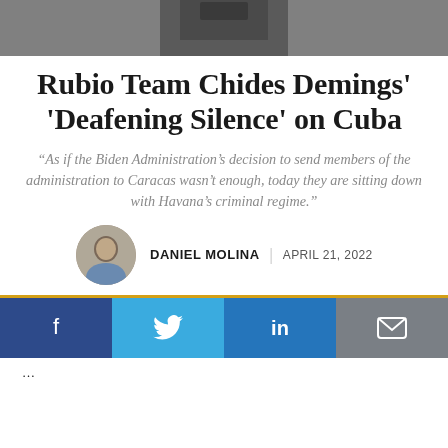[Figure (photo): Top portion of a photo showing a person in a dark suit, partially cropped]
Rubio Team Chides Demings' 'Deafening Silence' on Cuba
“As if the Biden Administration’s decision to send members of the administration to Caracas wasn’t enough, today they are sitting down with Havana’s criminal regime.”
DANIEL MOLINA | APRIL 21, 2022
[Figure (photo): Circular avatar photo of Daniel Molina]
Social share buttons: Facebook, Twitter, LinkedIn, Email